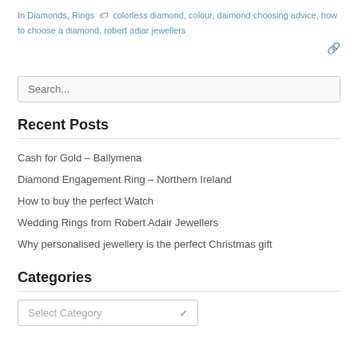In Diamonds, Rings  colorless diamond, colour, daimond choosing advice, how to choose a diamond, robert adiar jewellers
🔗
Search...
Recent Posts
Cash for Gold – Ballymena
Diamond Engagement Ring – Northern Ireland
How to buy the perfect Watch
Wedding Rings from Robert Adair Jewellers
Why personalised jewellery is the perfect Christmas gift
Categories
Select Category